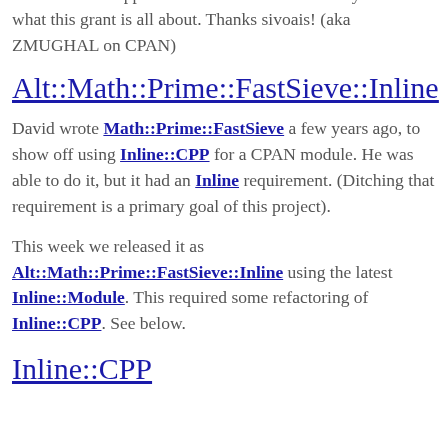and Inline::C support to do all the XS work easily. That's what this grant is all about. Thanks sivoais! (aka ZMUGHAL on CPAN)
Alt::Math::Prime::FastSieve::Inline
David wrote Math::Prime::FastSieve a few years ago, to show off using Inline::CPP for a CPAN module. He was able to do it, but it had an Inline requirement. (Ditching that requirement is a primary goal of this project).
This week we released it as Alt::Math::Prime::FastSieve::Inline using the latest Inline::Module. This required some refactoring of Inline::CPP. See below.
Inline::CPP